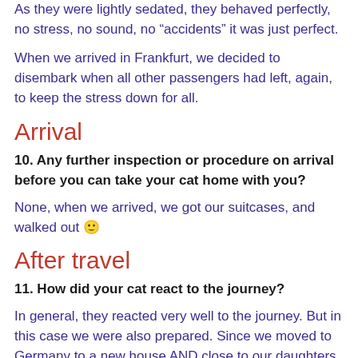As they were lightly sedated, they behaved perfectly, no stress, no sound, no “accidents” it was just perfect.
When we arrived in Frankfurt, we decided to disembark when all other passengers had left, again, to keep the stress down for all.
Arrival
10. Any further inspection or procedure on arrival before you can take your cat home with you?
None, when we arrived, we got our suitcases, and walked out 🙂
After travel
11. How did your cat react to the journey?
In general, they reacted very well to the journey. But in this case we were also prepared. Since we moved to Germany to a new house AND close to our daughters place she was able to prepare our house for the kitties.